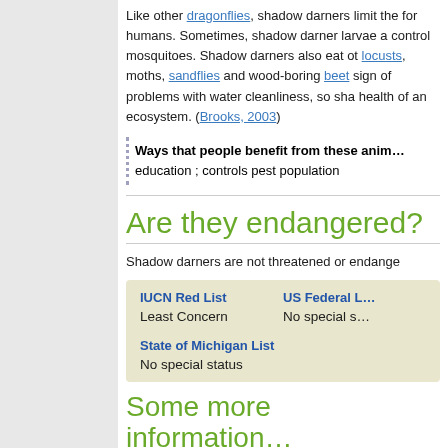Like other dragonflies, shadow darners limit the for humans. Sometimes, shadow darner larvae a control mosquitoes. Shadow darners also eat ot locusts, moths, sandflies and wood-boring beet sign of problems with water cleanliness, so sha health of an ecosystem. (Brooks, 2003)
Ways that people benefit from these anim: education ; controls pest population
Are they endangered?
Shadow darners are not threatened or endange
| IUCN Red List | US Federal L |
| --- | --- |
| Least Concern | No special s |
| State of Michigan List |  |
| No special status |  |
Some more information...